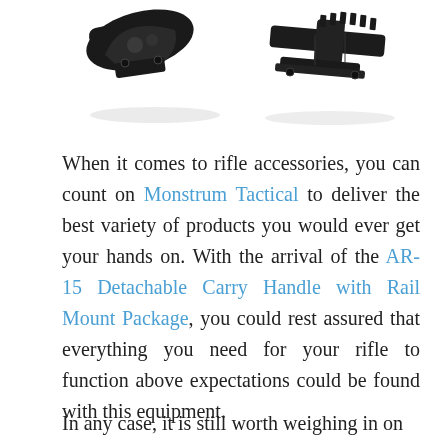[Figure (photo): Two black AR-15 rifle accessories (carry handle and rail mount components) photographed on white background, partially cropped at top of page.]
When it comes to rifle accessories, you can count on Monstrum Tactical to deliver the best variety of products you would ever get your hands on. With the arrival of the AR-15 Detachable Carry Handle with Rail Mount Package, you could rest assured that everything you need for your rifle to function above expectations could be found with this equipment.
In any case, it is still worth weighing in on